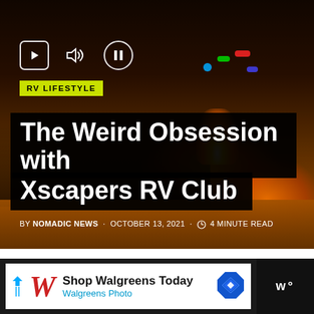[Figure (photo): Night scene with people gathered around fire, dark background with orange fire glow and blue/green lights in background. Media player controls visible at top left.]
RV LIFESTYLE
The Weird Obsession with Xscapers RV Club
BY NOMADIC NEWS · OCTOBER 13, 2021 · 4 MINUTE READ
[Figure (infographic): Walgreens advertisement banner: Shop Walgreens Today - Walgreens Photo]